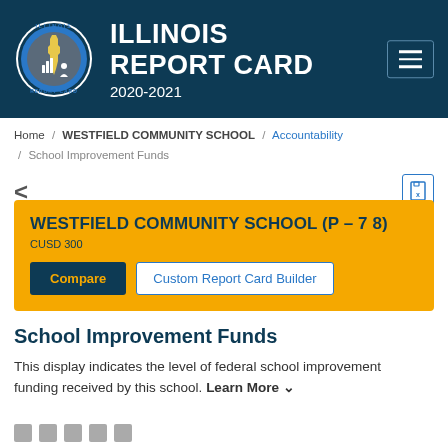[Figure (logo): Illinois Report Card circular logo with state outline and icons]
ILLINOIS REPORT CARD 2020-2021
Home / WESTFIELD COMMUNITY SCHOOL / Accountability / School Improvement Funds
WESTFIELD COMMUNITY SCHOOL (P - 7 8)
CUSD 300
School Improvement Funds
This display indicates the level of federal school improvement funding received by this school. Learn More ✓